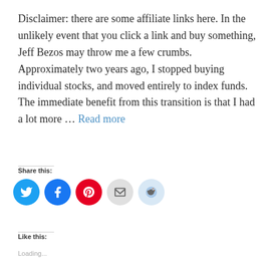Disclaimer: there are some affiliate links here. In the unlikely event that you click a link and buy something, Jeff Bezos may throw me a few crumbs. Approximately two years ago, I stopped buying individual stocks, and moved entirely to index funds. The immediate benefit from this transition is that I had a lot more … Read more
Share this:
[Figure (infographic): Row of five social share icon circles: Twitter (blue), Facebook (blue), Pinterest (red), Email (light gray), Reddit (light blue)]
Like this:
Loading...